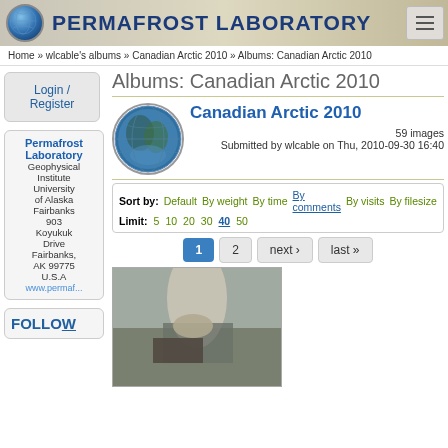PERMAFROST LABORATORY
Home » wlcable's albums » Canadian Arctic 2010 » Albums: Canadian Arctic 2010
Login / Register
Albums: Canadian Arctic 2010
Permafrost Laboratory
Geophysical Institute
University of Alaska Fairbanks
903 Koyukuk Drive
Fairbanks, AK 99775
U.S.A
www.permaf...
[Figure (photo): Globe showing North America satellite view]
Canadian Arctic 2010
59 images
Submitted by wlcable on Thu, 2010-09-30 16:40
Sort by: Default  By weight  By time  By comments  By visits  By filesize
Limit: 5  10  20  30  40  50
1  2  next ›  last »
[Figure (photo): Person crouching on ground examining permafrost]
FOLLOW